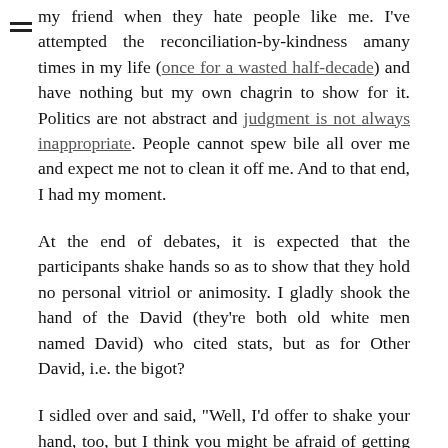my friend when they hate people like me. I've attempted the reconciliation-by-kindness amany times in my life (once for a wasted half-decade) and have nothing but my own chagrin to show for it. Politics are not abstract and judgment is not always inappropriate. People cannot spew bile all over me and expect me not to clean it off me. And to that end, I had my moment.
At the end of debates, it is expected that the participants shake hands so as to show that they hold no personal vitriol or animosity. I gladly shook the hand of the David (they're both old white men named David) who cited stats, but as for Other David, i.e. the bigot?
I sidled over and said, "Well, I'd offer to shake your hand, too, but I think you might be afraid of getting the AIDS. Or maybe you're afraid I'll molest your children?"
He smiled tersely and said that he wasn't afraid of that. I